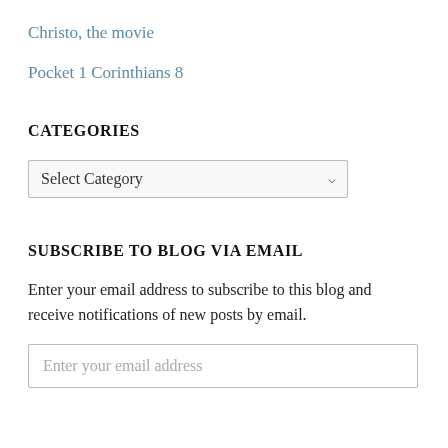Christo, the movie
Pocket 1 Corinthians 8
CATEGORIES
[Figure (other): Dropdown widget labeled 'Select Category' with a chevron arrow on the right]
SUBSCRIBE TO BLOG VIA EMAIL
Enter your email address to subscribe to this blog and receive notifications of new posts by email.
[Figure (other): Text input field with placeholder 'Enter your email address']